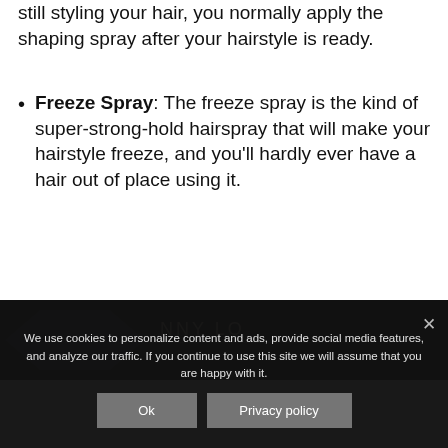still styling your hair, you normally apply the shaping spray after your hairstyle is ready.
Freeze Spray: The freeze spray is the kind of super-strong-hold hairspray that will make your hairstyle freeze, and you'll hardly ever have a hair out of place using it.
[Figure (photo): Partial view of a hair product box with text 'JINNY LO' visible on a dark hexagonal package against a white background, partially obscured by cookie banner.]
We use cookies to personalize content and ads, provide social media features, and analyze our traffic. If you continue to use this site we will assume that you are happy with it.